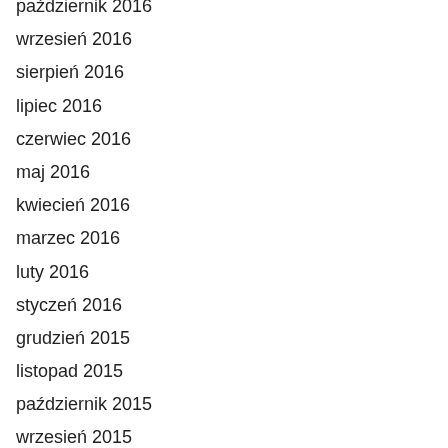październik 2016
wrzesień 2016
sierpień 2016
lipiec 2016
czerwiec 2016
maj 2016
kwiecień 2016
marzec 2016
luty 2016
styczeń 2016
grudzień 2015
listopad 2015
październik 2015
wrzesień 2015